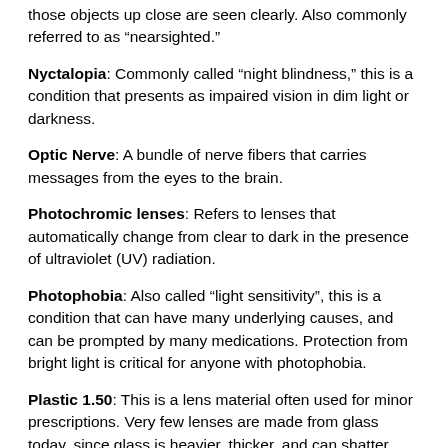those objects up close are seen clearly. Also commonly referred to as “nearsighted.”
Nyctalopia: Commonly called “night blindness,” this is a condition that presents as impaired vision in dim light or darkness.
Optic Nerve: A bundle of nerve fibers that carries messages from the eyes to the brain.
Photochromic lenses: Refers to lenses that automatically change from clear to dark in the presence of ultraviolet (UV) radiation.
Photophobia: Also called “light sensitivity”, this is a condition that can have many underlying causes, and can be prompted by many medications. Protection from bright light is critical for anyone with photophobia.
Plastic 1.50: This is a lens material often used for minor prescriptions. Very few lenses are made from glass today, since glass is heavier, thicker, and can shatter. Also referred to as standard index or by the brand name CR-39.